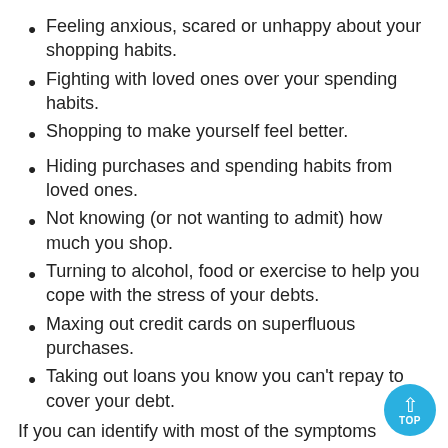Feeling anxious, scared or unhappy about your shopping habits.
Fighting with loved ones over your spending habits.
Shopping to make yourself feel better.
Hiding purchases and spending habits from loved ones.
Not knowing (or not wanting to admit) how much you shop.
Turning to alcohol, food or exercise to help you cope with the stress of your debts.
Maxing out credit cards on superfluous purchases.
Taking out loans you know you can't repay to cover your debt.
If you can identify with most of the symptoms above,